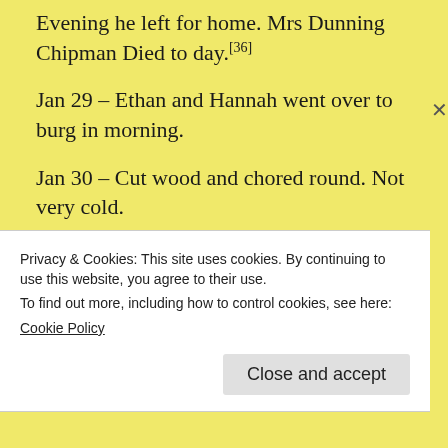Evening he left for home. Mrs Dunning Chipman Died to day.[36]
Jan 29 – Ethan and Hannah went over to burg in morning.
Jan 30 – Cut wood and chored round. Not very cold.
Jan 31 – Cut cherry tree on west Line nex to Towns cornfield, cut wood up in woods. Emmet
Privacy & Cookies: This site uses cookies. By continuing to use this website, you agree to their use.
To find out more, including how to control cookies, see here:
Cookie Policy
Close and accept